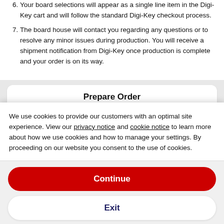6. Your board selections will appear as a single line item in the Digi-Key cart and will follow the standard Digi-Key checkout process.
7. The board house will contact you regarding any questions or to resolve any minor issues during production. You will receive a shipment notification from Digi-Key once production is complete and your order is on its way.
Prepare Order
[Figure (screenshot): Upload Gerber Files input box, partially visible]
We use cookies to provide our customers with an optimal site experience. View our privacy notice and cookie notice to learn more about how we use cookies and how to manage your settings. By proceeding on our website you consent to the use of cookies.
Continue
Exit
Privacy Notice